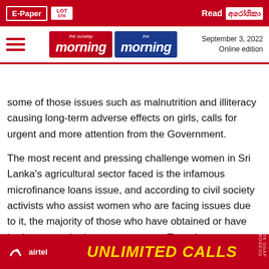E-Paper | Read | The Sunday Morning | The Morning | September 3, 2022 | Online edition
some of those issues such as malnutrition and illiteracy causing long-term adverse effects on girls, calls for urgent and more attention from the Government.
The most recent and pressing challenge women in Sri Lanka's agricultural sector faced is the infamous microfinance loans issue, and according to civil society activists who assist women who are facing issues due to it, the majority of those who have obtained or have had to repay the loans are women. To make matters worse, most of the time, it is women who have to deal with representatives of microfinance institutions, and therefore, they have had to face threats and insults ... United National ... assist
[Figure (other): Airtel advertisement banner with text UNLIMITED CALLS in yellow on red background]